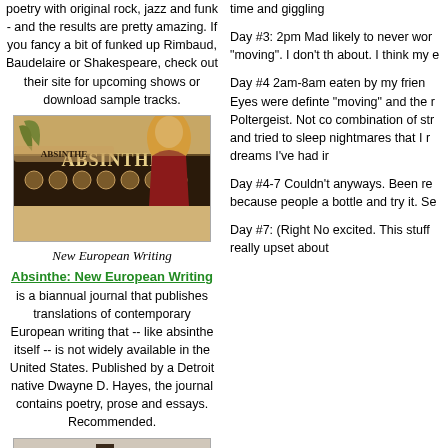poetry with original rock, jazz and funk - and the results are pretty amazing. If you fancy a bit of funked up Rimbaud, Baudelaire or Shakespeare, check out their site for upcoming shows or download sample tracks.
[Figure (illustration): Absinthe New European Writing journal cover/logo with Art Nouveau style featuring a woman with orange hair and a banner reading ABSINTHE]
New European Writing
Absinthe: New European Writing is a biannual journal that publishes translations of contemporary European writing that -- like absinthe itself -- is not widely available in the United States. Published by a Detroit native Dwayne D. Hayes, the journal contains poetry, prose and essays. Recommended.
[Figure (illustration): Widow Moon book cover showing misty trees and a large moon with white text reading WIDOW MOON]
Widow Moon by Peggy Amend
time and giggling
Day #3: 2pm Mad likely to never wor "moving". I don't th about. I think my e
Day #4 2am-8am eaten by my frien Eyes were definte "moving" and the r Poltergeist. Not co combination of str and tried to sleep nightmares that I r dreams I've had ir
Day #4-7 Couldn't anyways. Been re because people a bottle and try it. Se
Day #7: (Right No excited. This stuff really upset about